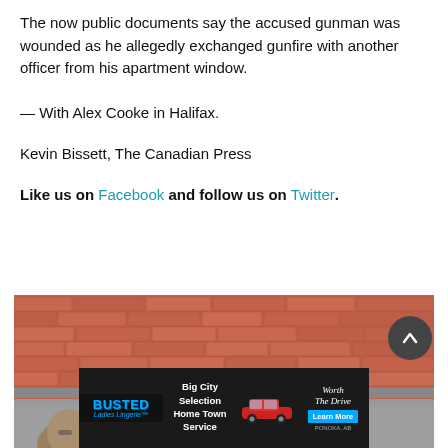The now public documents say the accused gunman was wounded as he allegedly exchanged gunfire with another officer from his apartment window.
— With Alex Cooke in Halifax.
Kevin Bissett, The Canadian Press
Like us on Facebook and follow us on Twitter.
[Figure (photo): Photo of a brick wall with a person partially visible in the lower left corner]
[Figure (other): Advertisement for Busted Ladies Lingerie: Big City Selection Home Town Service, with a red car illustration. Worth The Drive. Learn More. Ponoka, AB.]